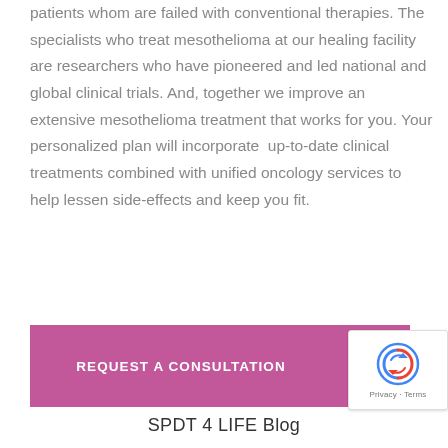patients whom are failed with conventional therapies. The specialists who treat mesothelioma at our healing facility are researchers who have pioneered and led national and global clinical trials. And, together we improve an extensive mesothelioma treatment that works for you. Your personalized plan will incorporate  up-to-date clinical treatments combined with unified oncology services to help lessen side-effects and keep you fit.
REQUEST A CONSULTATION
SPDT 4 LIFE Blog